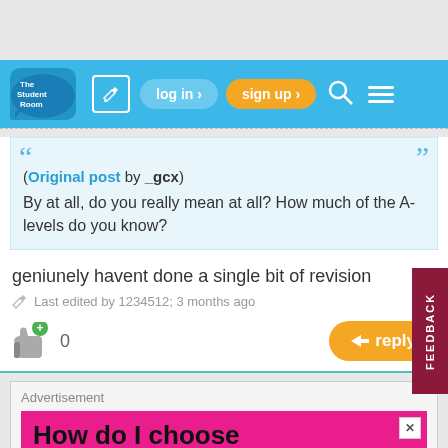[Figure (screenshot): The Student Room website header with navigation bar (logo, edit icon, log in button, sign up button, search icon, menu icon) on blue background]
(Original post by _gcx)
By at all, do you really mean at all? How much of the A-levels do you know?
geniunely havent done a single bit of revision
Last edited by 1234512; 3 months ago
0
Advertisement
How do I choose